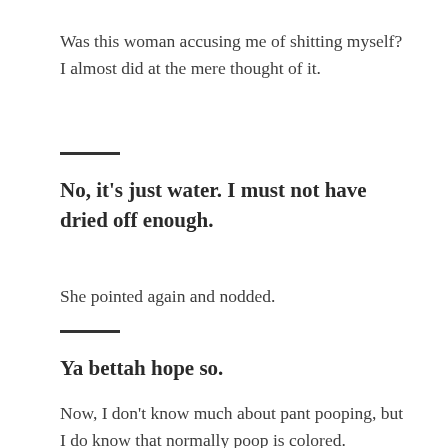Was this woman accusing me of shitting myself? I almost did at the mere thought of it.
No, it's just water. I must not have dried off enough.
She pointed again and nodded.
Ya bettah hope so.
Now, I don't know much about pant pooping, but I do know that normally poop is colored. However, I did once live with a